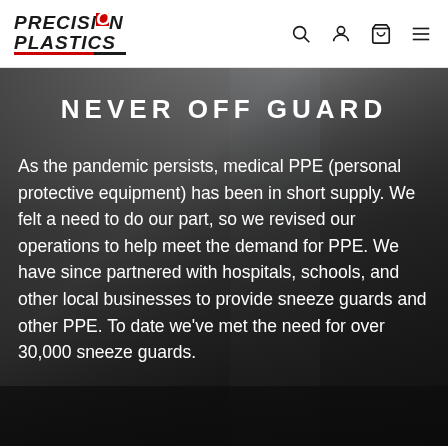Precision Plastics — navigation header with search, account, cart, and menu icons
NEVER OFF GUARD
As the pandemic persists, medical PPE (personal protective equipment) has been in short supply. We felt a need to do our part, so we revised our operations to help meet the demand for PPE. We have since partnered with hospitals, schools, and other local businesses to provide sneeze guards and other PPE. To date we've met the need for over 30,000 sneeze guards.